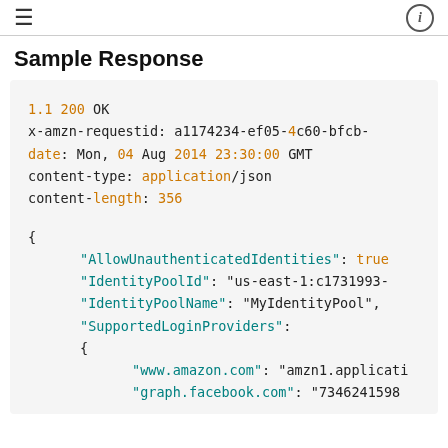≡  ⓘ
Sample Response
[Figure (screenshot): Code block showing an HTTP 1.1 200 OK sample response with headers and JSON body including AllowUnauthenticatedIdentities, IdentityPoolId, IdentityPoolName, SupportedLoginProviders with www.amazon.com and graph.facebook.com entries]